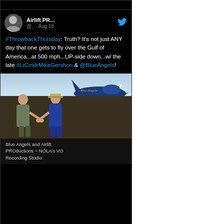Airlift PR... @.. · Aug 18
#ThrowbackThursday: Truth? It's not just ANY day that one gets to fly over the Gulf of America...at 500 mph...UP-side down...w/ the late #LtCmdrMikeGershon & @BlueAngels!
[Figure (photo): Two men shaking hands in front of a Blue Angels jet aircraft. One man is in civilian clothes, the other is in a blue military flight suit. The number 7 is visible on the jet.]
Blue Angels and Airlift PROductions ~ NOLA's VO Recording Studio